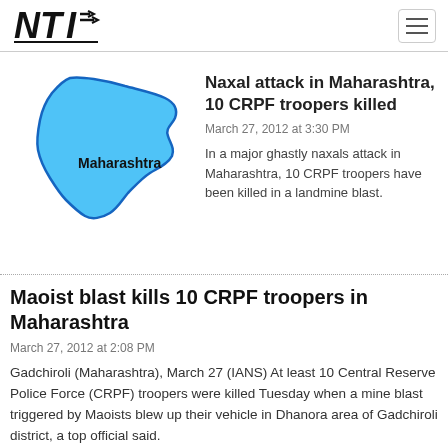NTI [logo] with hamburger menu
[Figure (map): Blue silhouette map of Maharashtra state, India, with label 'Maharashtra' in bold black text]
Naxal attack in Maharashtra, 10 CRPF troopers killed
March 27, 2012 at 3:30 PM
In a major ghastly naxals attack in Maharashtra, 10 CRPF troopers have been killed in a landmine blast.
Maoist blast kills 10 CRPF troopers in Maharashtra
March 27, 2012 at 2:08 PM
Gadchiroli (Maharashtra), March 27 (IANS) At least 10 Central Reserve Police Force (CRPF) troopers were killed Tuesday when a mine blast triggered by Maoists blew up their vehicle in Dhanora area of Gadchiroli district, a top official said.